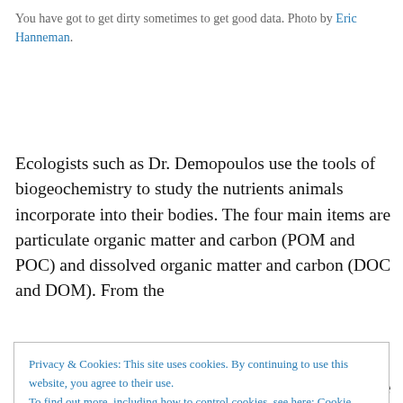You have got to get dirty sometimes to get good data. Photo by Eric Hanneman.
Ecologists such as Dr. Demopoulos use the tools of biogeochemistry to study the nutrients animals incorporate into their bodies. The four main items are particulate organic matter and carbon (POM and POC) and dissolved organic matter and carbon (DOC and DOM). From the
Privacy & Cookies: This site uses cookies. By continuing to use this website, you agree to their use.
To find out more, including how to control cookies, see here: Cookie Policy
the food web and where they are in food chain can be